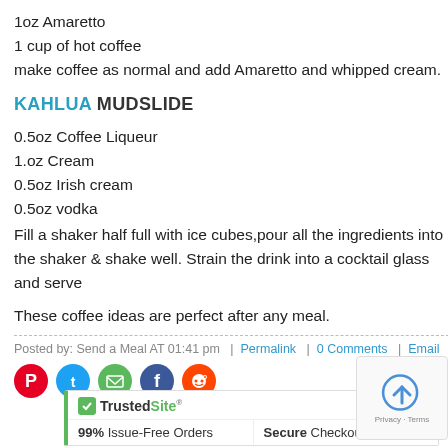1oz Amaretto
1 cup of hot coffee
make coffee as normal and add Amaretto and whipped cream.
KAHLUA MUDSLIDE
0.5oz Coffee Liqueur
1.oz Cream
0.5oz Irish cream
0.5oz vodka
Fill a shaker half full with ice cubes,pour all the ingredients into the shaker & shake well. Strain the drink into a cocktail glass and serve
These coffee ideas are perfect after any meal.
Posted by: Send a Meal AT 01:41 pm  |  Permalink  |  0 Comments  |  Email
[Figure (infographic): Social sharing icons: Pinterest (red), Twitter (blue), Email (green), Facebook (dark blue), Reddit (orange)]
[Figure (infographic): TrustedSite badge showing 99% Issue-Free Orders and Secure Checkout, dated 2022-08-30]
[Figure (infographic): reCAPTCHA widget showing Privacy - Terms text]